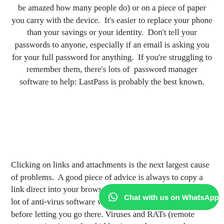be amazed how many people do) or on a piece of paper you carry with the device.  It's easier to replace your phone than your savings or your identity.  Don't tell your passwords to anyone, especially if an email is asking you for your full password for anything.  If you're struggling to remember them, there's lots of  password manager software to help: LastPass is probably the best known.
Clicking on links and attachments is the next largest cause of problems.  A good piece of advice is always to copy a link direct into your browser, rather than clicking on it; a lot of anti-virus software will check that the site is OK before letting you go there.  Viruses and RATs (remote access trojans) are often hidden in attachments, so be careful what you open: if you don't trust it, don't open it.  Increasing